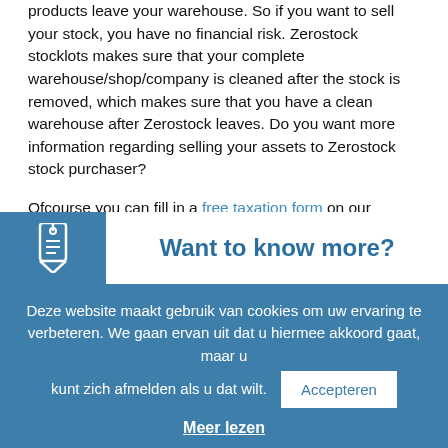products leave your warehouse. So if you want to sell your stock, you have no financial risk. Zerostock stocklots makes sure that your complete warehouse/shop/company is cleaned after the stock is removed, which makes sure that you have a clean warehouse after Zerostock leaves. Do you want more information regarding selling your assets to Zerostock stock purchaser?
Ofcourse you can fill in a free taxation form on our website. U will receive an appropriate bid on your stock within 24 hours. If we are interested we will visit the lot and make an offer on the spot. Want to know more about our advantages?
Want to know more?
Deze website maakt gebruik van cookies om uw ervaring te verbeteren. We gaan ervan uit dat u hiermee akkoord gaat, maar u kunt zich afmelden als u dat wilt.
Meer lezen